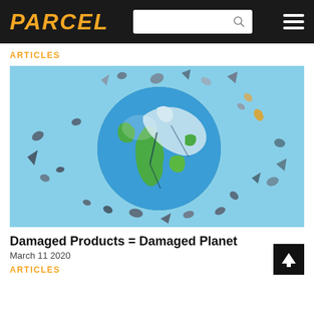PARCEL
ARTICLES
[Figure (illustration): A crumbling/exploding Earth globe with fragments flying outward against a light blue background, as a conceptual illustration of environmental damage.]
Damaged Products = Damaged Planet
March 11 2020
ARTICLES